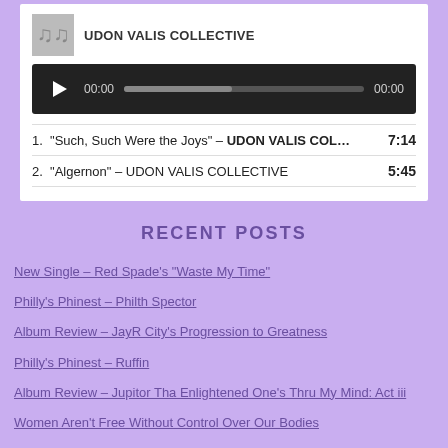[Figure (other): Music player widget showing UDON VALIS COLLECTIVE with album art, audio playback bar (00:00 / 00:00), and track list with two items: 1. "Such, Such Were the Joys" – UDON VALIS COL… 7:14 and 2. "Algernon" – UDON VALIS COLLECTIVE 5:45]
RECENT POSTS
New Single – Red Spade's "Waste My Time"
Philly's Phinest – Philth Spector
Album Review – JayR City's Progression to Greatness
Philly's Phinest – Ruffin
Album Review – Jupitor Tha Enlightened One's Thru My Mind: Act iii
Women Aren't Free Without Control Over Our Bodies
Philly's Phinest – The InGlorious